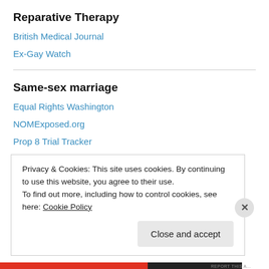Reparative Therapy
British Medical Journal
Ex-Gay Watch
Same-sex marriage
Equal Rights Washington
NOMExposed.org
Prop 8 Trial Tracker
The Cornerstone Forum Samizdat
The New Civil Rights Movement
Washington Families Standing Together
Privacy & Cookies: This site uses cookies. By continuing to use this website, you agree to their use.
To find out more, including how to control cookies, see here: Cookie Policy